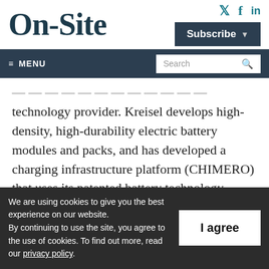On-Site
Subscribe
≡ MENU  Search
technology provider. Kreisel develops high-density, high-durability electric battery modules and packs, and has developed a charging infrastructure platform (CHIMERO) that uses its patented battery technology.
We are using cookies to give you the best experience on our website. By continuing to use the site, you agree to the use of cookies. To find out more, read our privacy policy.